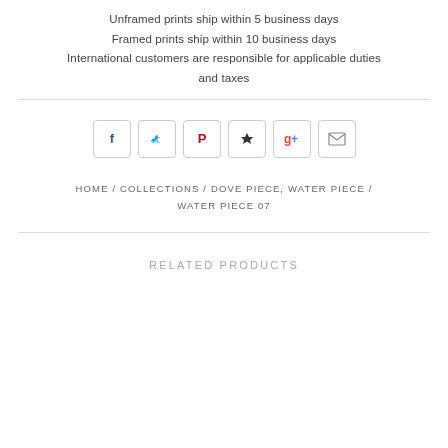Unframed prints ship within 5 business days
Framed prints ship within 10 business days
International customers are responsible for applicable duties and taxes
[Figure (infographic): Row of 6 social sharing icon buttons: Facebook (blue f), Twitter (blue bird), Pinterest (red P), Fancy (dark bookmark), Google+ (red/blue g+), Email (envelope icon)]
HOME / COLLECTIONS / DOVE PIECE, WATER PIECE / WATER PIECE 07
RELATED PRODUCTS